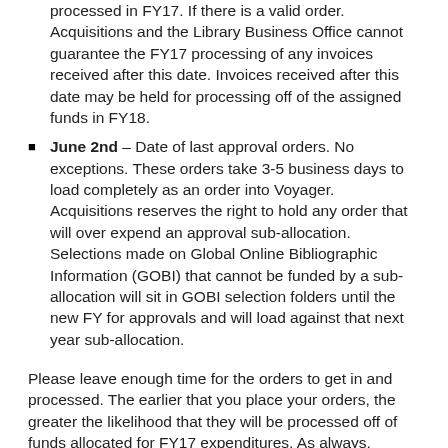processed in FY17. If there is a valid order. Acquisitions and the Library Business Office cannot guarantee the FY17 processing of any invoices received after this date. Invoices received after this date may be held for processing off of the assigned funds in FY18.
June 2nd – Date of last approval orders. No exceptions. These orders take 3-5 business days to load completely as an order into Voyager. Acquisitions reserves the right to hold any order that will over expend an approval sub-allocation. Selections made on Global Online Bibliographic Information (GOBI) that cannot be funded by a sub-allocation will sit in GOBI selection folders until the new FY for approvals and will load against that next year sub-allocation.
Please leave enough time for the orders to get in and processed. The earlier that you place your orders, the greater the likelihood that they will be processed off of funds allocated for FY17 expenditures. As always, please note that international shipments take much longer and